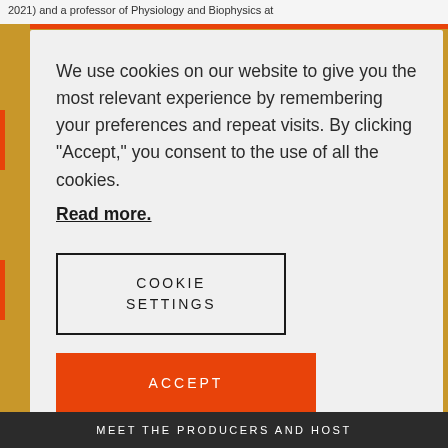2021) and a professor of Physiology and Biophysics at
We use cookies on our website to give you the most relevant experience by remembering your preferences and repeat visits. By clicking “Accept,” you consent to the use of all the cookies.
Read more.
COOKIE SETTINGS
ACCEPT
MEET THE PRODUCERS AND HOST